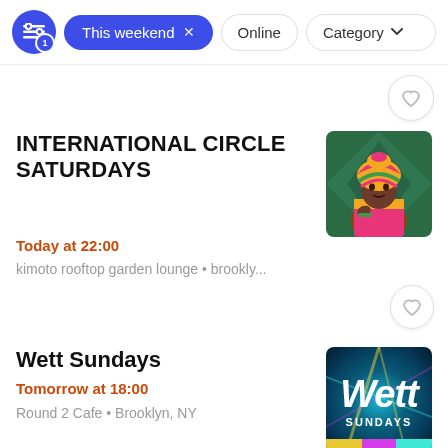[Figure (screenshot): Filter bar with filter icon badge, active 'This weekend' pill, 'Online' pill, and 'Category' dropdown pill]
[Figure (photo): Heart/favorite button at top right]
INTERNATIONAL CIRCLE SATURDAYS
Today at 22:00
kimoto rooftop garden lounge • brookly...
[Figure (photo): Event image: woman with colorful African headwrap and dress]
Wett Sundays
Tomorrow at 18:00
Round 2 Cafe • Brooklyn, NY
[Figure (photo): Event image: Wett Sundays logo with colorful neon background]